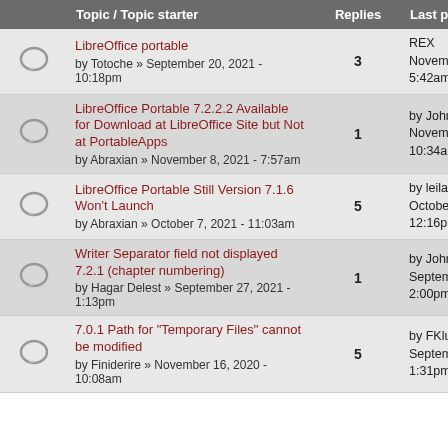|  | Topic / Topic starter | Replies | Last post |
| --- | --- | --- | --- |
| [icon] | LibreOffice portable
by Totoche » September 20, 2021 - 10:18pm | 3 | REX
November 23, 2021 - 5:42am |
| [icon] | LibreOffice Portable 7.2.2.2 Available for Download at LibreOffice Site but Not at PortableApps
by Abraxian » November 8, 2021 - 7:57am | 1 | by John T. Haller
November 8, 2021 - 10:34am |
| [icon] | LibreOffice Portable Still Version 7.1.6 Won't Launch
by Abraxian » October 7, 2021 - 11:03am | 5 | by leilabd
October 17, 2021 - 12:16pm |
| [icon] | Writer Separator field not displayed 7.2.1 (chapter numbering)
by Hagar Delest » September 27, 2021 - 1:13pm | 1 | by John T. Haller
September 27, 2021 - 2:00pm |
| [icon] | 7.0.1 Path for "Temporary Files" cannot be modified
by Finiderire » November 16, 2020 - 10:08am | 5 | by FKlusmann
September 15, 2021 - 1:31pm |